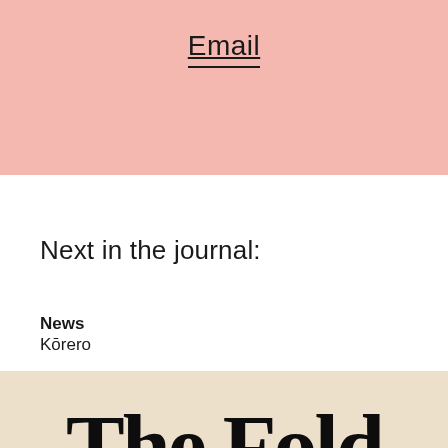Email
Next in the journal:
News
Kōrero
[Figure (illustration): The Fold title in blackletter/old English style typography on a cream/beige background]